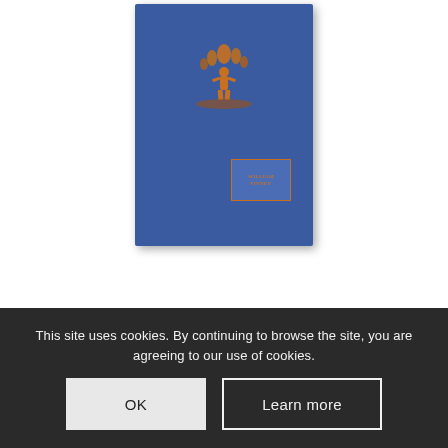[Figure (photo): Blue hardcover book titled 'Emblems of Freemasonry' by William Finney, with a gold/orange Masonic emblem on the cover and an orange-bordered label with the author's name at the bottom right.]
Emblems of Freemasonry
£12.00
This site uses cookies. By continuing to browse the site, you are agreeing to our use of cookies.
OK
Learn more